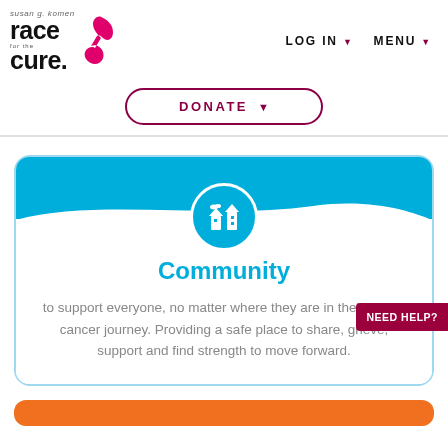[Figure (logo): Susan G. Komen Race for the Cure logo with pink ribbon icon]
LOG IN ▾   MENU ▾
DONATE ▾
[Figure (infographic): Community card with light blue background, city/building icon in circle, heading 'Community', and descriptive text about supporting everyone in their breast cancer journey.]
Community
to support everyone, no matter where they are in their breast cancer journey. Providing a safe place to share, grieve, support and find strength to move forward.
NEED HELP?